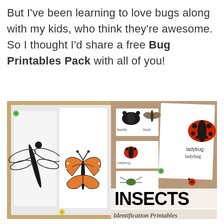But I've been learning to love bugs along with my kids, who think they're awesome. So I thought I'd share a free Bug Printables Pack with all of you!
[Figure (photo): A photo collage showing insect printables: left side shows a black-and-white dragonfly illustration and a monarch butterfly illustration pinned to a wooden board; right side shows laminated insect identification flashcards with a ladybug, beetle, moth, and other bugs. Overlaid text reads 'INSECTS Identification Printables'.]